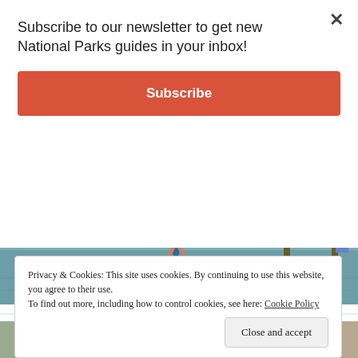Subscribe to our newsletter to get new National Parks guides in your inbox!
Subscribe
[Figure (photo): Child walking on an old stone/concrete pier over turquoise water with a thatched hut visible on the right side]
Privacy & Cookies: This site uses cookies. By continuing to use this website, you agree to their use. To find out more, including how to control cookies, see here: Cookie Policy
Close and accept
[Figure (photo): Partial view of a bottom photo strip showing people on a beach]